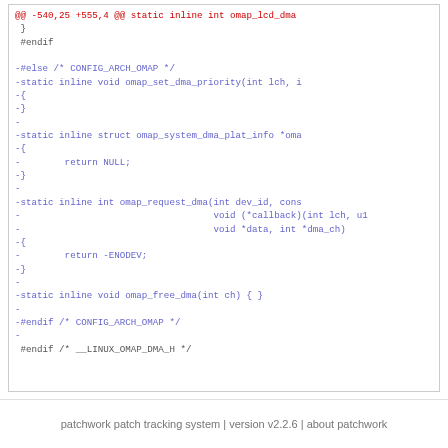[Figure (screenshot): Code diff snippet showing removed lines (in purple/blue) and context lines from a Linux kernel header file omap_dma.h, with a red diff header at top. Removed lines include static inline stubs for omap_set_dma_priority, omap_system_dma_plat_info, omap_request_dma, and omap_free_dma functions under #else CONFIG_ARCH_OMAP block.]
patchwork patch tracking system | version v2.2.6 | about patchwork